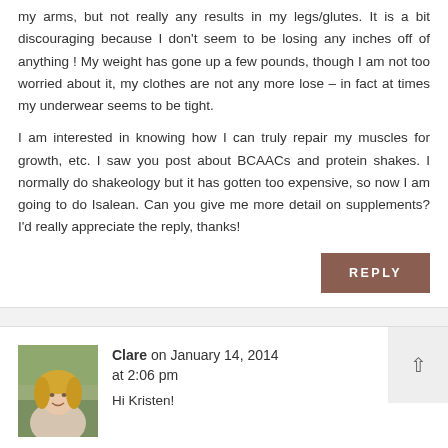my arms, but not really any results in my legs/glutes. It is a bit discouraging because I don't seem to be losing any inches off of anything ! My weight has gone up a few pounds, though I am not too worried about it, my clothes are not any more lose – in fact at times my underwear seems to be tight.
I am interested in knowing how I can truly repair my muscles for growth, etc. I saw you post about BCAACs and protein shakes. I normally do shakeology but it has gotten too expensive, so now I am going to do Isalean. Can you give me more detail on supplements? I'd really appreciate the reply, thanks!
REPLY
Clare on January 14, 2014 at 2:06 pm
[Figure (photo): Profile photo of Clare, a woman with blonde hair, smiling outdoors]
Hi Kristen!